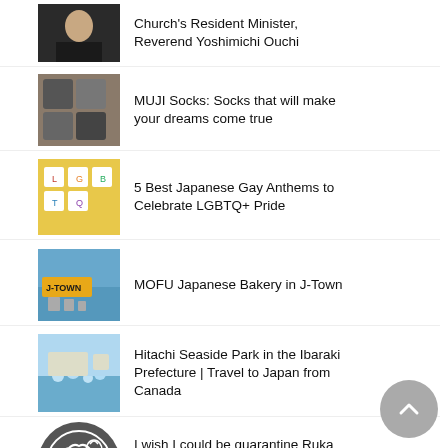Church's Resident Minister, Reverend Yoshimichi Ouchi
MUJI Socks: Socks that will make your dreams come true
5 Best Japanese Gay Anthems to Celebrate LGBTQ+ Pride
MOFU Japanese Bakery in J-Town
Hitachi Seaside Park in the Ibaraki Prefecture | Travel to Japan from Canada
I wish I could be quarantine Ruka Nishinoiri in Terrace House | Hot Asian Men Friday